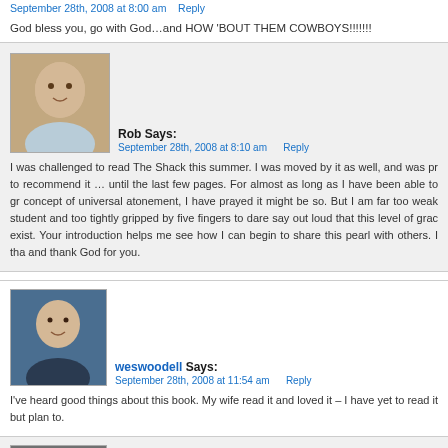September 28th, 2008 at 8:00 am   Reply
God bless you, go with God...and HOW 'BOUT THEM COWBOYS!!!!!!!
Rob Says:
September 28th, 2008 at 8:10 am   Reply
I was challenged to read The Shack this summer. I was moved by it as well, and was pr to recommend it … until the last few pages. For almost as long as I have been able to gr concept of universal atonement, I have prayed it might be so. But I am far too weak student and too tightly gripped by five fingers to dare say out loud that this level of grac exist. Your introduction helps me see how I can begin to share this pearl with others. I tha and thank God for you.
weswoodell Says:
September 28th, 2008 at 11:54 am   Reply
I've heard good things about this book. My wife read it and loved it – I have yet to read it but plan to.